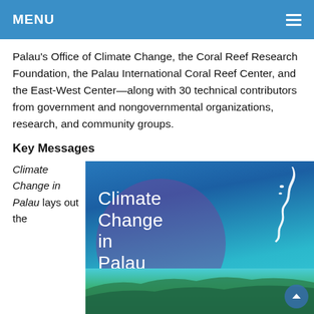MENU
Palau's Office of Climate Change, the Coral Reef Research Foundation, the Palau International Coral Reef Center, and the East-West Center—along with 30 technical contributors from government and nongovernmental organizations, research, and community groups.
Key Messages
Climate Change in Palau lays out the
[Figure (illustration): Book cover for 'Climate Change in Palau' showing blue and teal tones with a purple circle, white text title, a white silhouette map of Palau islands in the upper right, and an aerial photograph of Palau at the bottom.]